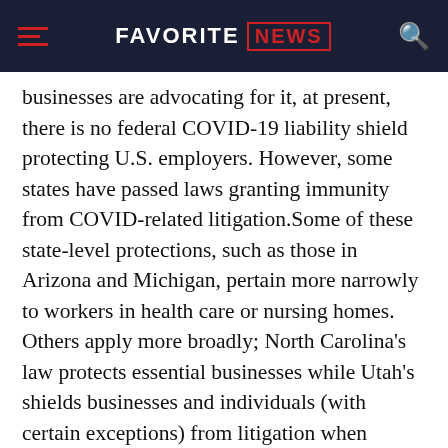FAVORITE NEWS
businesses are advocating for it, at present, there is no federal COVID-19 liability shield protecting U.S. employers. However, some states have passed laws granting immunity from COVID-related litigation.Some of these state-level protections, such as those in Arizona and Michigan, pertain more narrowly to workers in health care or nursing homes. Others apply more broadly; North Carolina’s law protects essential businesses while Utah’s shields businesses and individuals (with certain exceptions) from litigation when people are exposed to COVID-19 on their property.Now, depending on the state, an employee may need to prove that he or she contracted COVID-19 while working which could